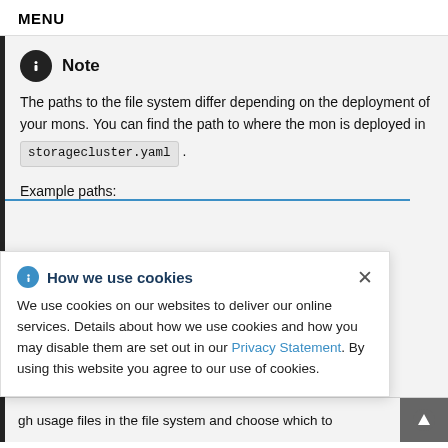MENU
Note
The paths to the file system differ depending on the deployment of your mons. You can find the path to where the mon is deployed in storagecluster.yaml .
Example paths:
How we use cookies
We use cookies on our websites to deliver our online services. Details about how we use cookies and how you may disable them are set out in our Privacy Statement. By using this website you agree to our use of cookies.
gh usage files in the file system and choose which to